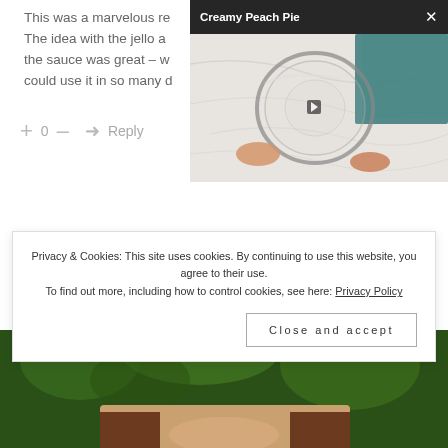This was a marvelous re... The idea with the jello a... the sauce was great – w... could use it in so many d...
+ 0 – → Reply
[Figure (screenshot): Video overlay with black title bar showing 'Creamy Peach Pie' and an X close button, with video thumbnail showing a glass bowl on marble surface held by hands, with teal fabric in background]
[Figure (photo): Bottom strip of a photo showing green foliage at top and a person with long hair visible at bottom]
Privacy & Cookies: This site uses cookies. By continuing to use this website, you agree to their use. To find out more, including how to control cookies, see here: Privacy Policy
Close and accept